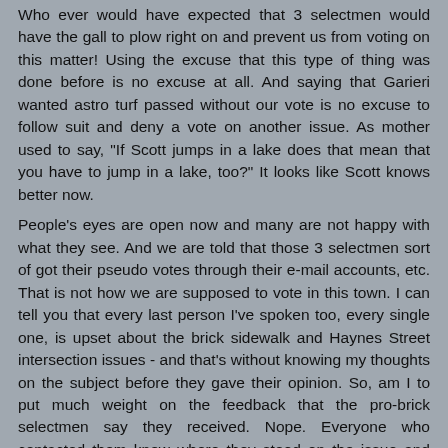Who ever would have expected that 3 selectmen would have the gall to plow right on and prevent us from voting on this matter! Using the excuse that this type of thing was done before is no excuse at all. And saying that Garieri wanted astro turf passed without our vote is no excuse to follow suit and deny a vote on another issue. As mother used to say, "If Scott jumps in a lake does that mean that you have to jump in a lake, too?" It looks like Scott knows better now. People's eyes are open now and many are not happy with what they see. And we are told that those 3 selectmen sort of got their pseudo votes through their e-mail accounts, etc. That is not how we are supposed to vote in this town. I can tell you that every last person I've spoken too, every single one, is upset about the brick sidewalk and Haynes Street intersection issues - and that's without knowing my thoughts on the subject before they gave their opinion. So, am I to put much weight on the feedback that the pro-brick selectmen say they received. Nope. Everyone who contacted them knew where they stood on the issue and that alone made for unbalanced feedback. Friends are often quick to agree with your position, and strangers, until they are quite angry, are often leery of expressing